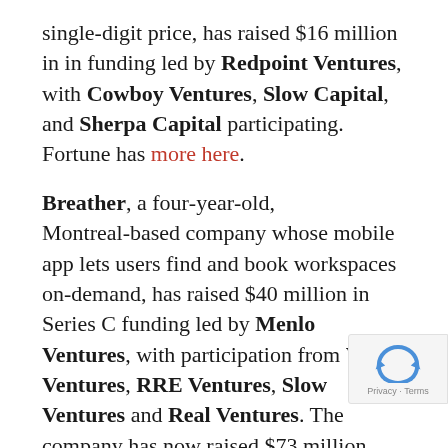single-digit price, has raised $16 million in in funding led by Redpoint Ventures, with Cowboy Ventures, Slow Capital, and Sherpa Capital participating. Fortune has more here.
Breather, a four-year-old, Montreal-based company whose mobile app lets users find and book workspaces on-demand, has raised $40 million in Series C funding led by Menlo Ventures, with participation from Valar Ventures, RRE Ventures, Slow Ventures and Real Ventures. The company has now raised $73 million altogether.